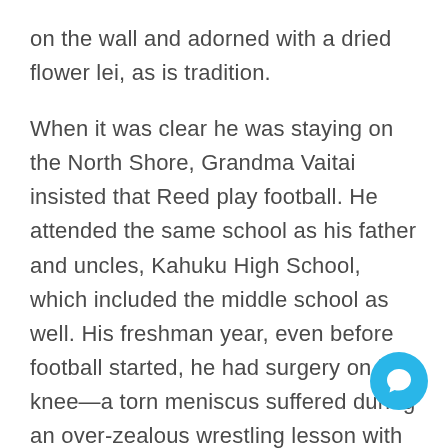on the wall and adorned with a dried flower lei, as is tradition.

When it was clear he was staying on the North Shore, Grandma Vaitai insisted that Reed play football. He attended the same school as his father and uncles, Kahuku High School, which included the middle school as well. His freshman year, even before football started, he had surgery on his knee—a torn meniscus suffered during an over-zealous wrestling lesson with Uncle Rocky. But by his senior year, after a summer spent training daily with a friend of his father's—a known member of the Hawaiian syndicate who lived several hours by bus from Grandma Vaitai's house—
[Figure (other): Blue circular chat button with speech bubble icon, positioned in lower right area of page]